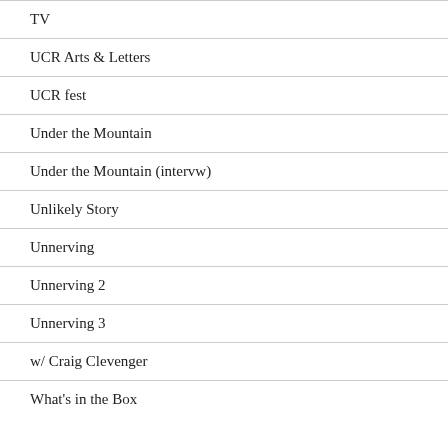TV
UCR Arts & Letters
UCR fest
Under the Mountain
Under the Mountain (intervw)
Unlikely Story
Unnerving
Unnerving 2
Unnerving 3
w/ Craig Clevenger
What's in the Box